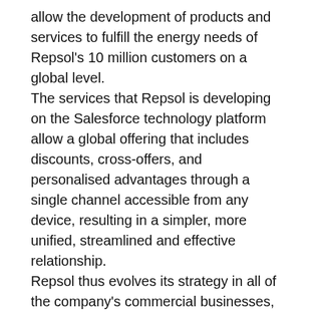allow the development of products and services to fulfill the energy needs of Repsol's 10 million customers on a global level.
The services that Repsol is developing on the Salesforce technology platform allow a global offering that includes discounts, cross-offers, and personalised advantages through a single channel accessible from any device, resulting in a simpler, more unified, streamlined and effective relationship.
Repsol thus evolves its strategy in all of the company's commercial businesses, from the domestic energy services and mobility to direct sales, LPG, chemicals, lubricants, asphalts and specialty products.
The collaboration agreement between Repsol and Salesforce is a global alliance between the Spanish